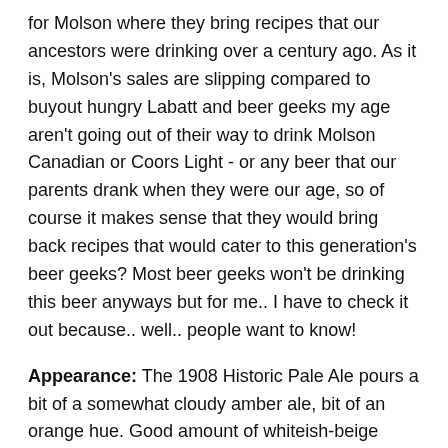for Molson where they bring recipes that our ancestors were drinking over a century ago. As it is, Molson's sales are slipping compared to buyout hungry Labatt and beer geeks my age aren't going out of their way to drink Molson Canadian or Coors Light - or any beer that our parents drank when they were our age, so of course it makes sense that they would bring back recipes that would cater to this generation's beer geeks? Most beer geeks won't be drinking this beer anyways but for me.. I have to check it out because.. well.. people want to know!
Appearance: The 1908 Historic Pale Ale pours a bit of a somewhat cloudy amber ale, bit of an orange hue. Good amount of whiteish-beige head.
Aroma: A very grainy pale ale. There's some notes of a barley grainery, a hint of caramel malt sweetness, as well as a bit of a angel food cake bready sweetness, grassy hops...